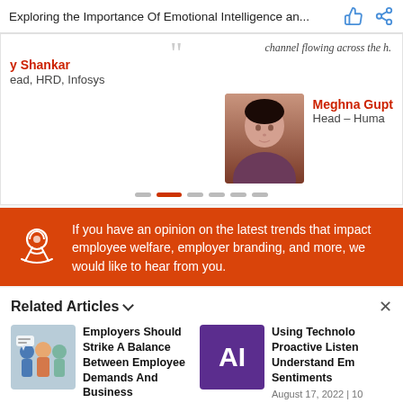Exploring the Importance Of Emotional Intelligence an...
channel flowing across the h.
y Shankar
ead, HRD, Infosys
[Figure (photo): Portrait photo of Meghna Gupt, Head - Huma]
Meghna Gupt
Head – Huma
If you have an opinion on the latest trends that impact employee welfare, employer branding, and more, we would like to hear from you.
Related Articles
Employers Should Strike A Balance Between Employee Demands And Business Expectations
August 23, 2022 | 1:01 pm
[Figure (illustration): Illustration of people group for employer article]
Using Technolo Proactive Listen Understand Em Sentiments
August 17, 2022 | 10
[Figure (logo): AI logo purple background for technology article]